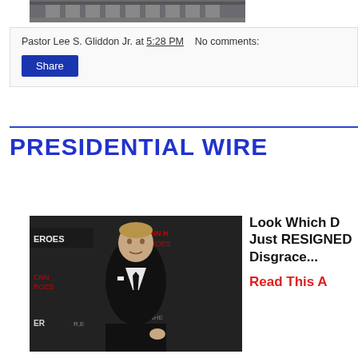[Figure (photo): Top portion of a building (appears to be a courthouse or government building) photograph, cropped, showing the upper facade]
Pastor Lee S. Gliddon Jr. at 5:28 PM   No comments:
Share
PRESIDENTIAL WIRE
[Figure (photo): Man in a black suit and tie standing in front of a CNN Heroes event backdrop]
Look Which D Just RESIGNED Disgrace...
Read This A